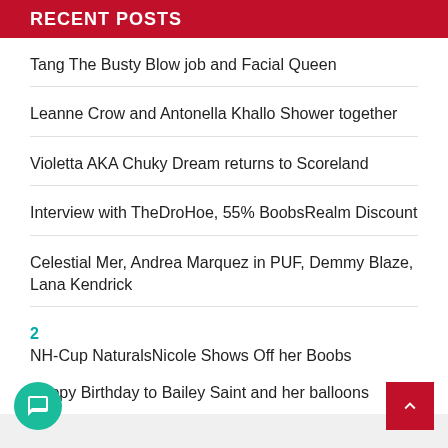RECENT POSTS
Tang The Busty Blow job and Facial Queen
Leanne Crow and Antonella Khallo Shower together
Violetta AKA Chuky Dream returns to Scoreland
Interview with TheDroHoe, 55% BoobsRealm Discount
Celestial Mer, Andrea Marquez in PUF, Demmy Blaze, Lana Kendrick
2
NH-Cup NaturalsNicole Shows Off her Boobs
Happy Birthday to Bailey Saint and her balloons